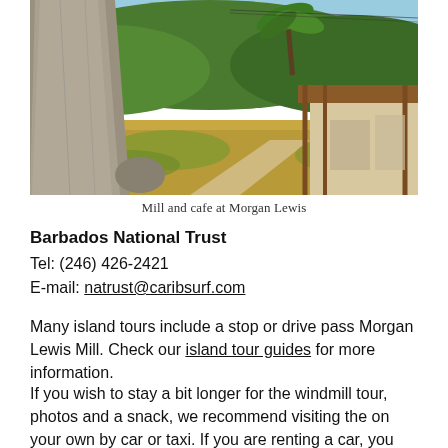[Figure (photo): Outdoor photo showing a stone obelisk/mill structure on the left, open grassy/sandy courtyard, palm trees in the background with green hills and blue sky, and a building with a covered porch on the right.]
Mill and cafe at Morgan Lewis
Barbados National Trust
Tel: (246) 426-2421
E-mail: natrust@caribsurf.com
Many island tours include a stop or drive pass Morgan Lewis Mill. Check our island tour guides for more information.
If you wish to stay a bit longer for the windmill tour, photos and a snack, we recommend visiting the on your own by car or taxi. If you are renting a car, you can easily include a stop at Morgan Lewis Windmill as you tour the north and east of Barbados. Just check an island map or